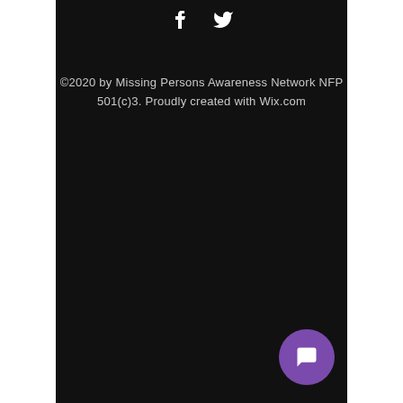[Figure (illustration): Social media icons: Facebook (f) and Twitter (bird) in white on dark background]
©2020 by Missing Persons Awareness Network NFP 501(c)3. Proudly created with Wix.com
[Figure (illustration): Purple circular chat/message button in bottom right corner]